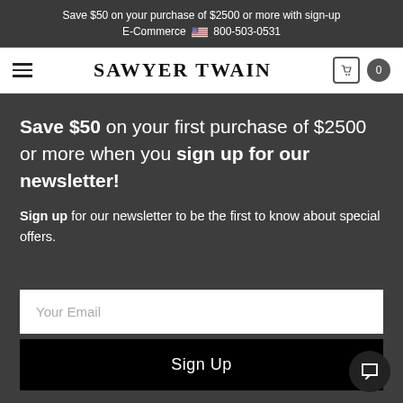Save $50 on your purchase of $2500 or more with sign-up E-Commerce 800-503-0531
SAWYER TWAIN
Save $50 on your first purchase of $2500 or more when you sign up for our newsletter! Sign up for our newsletter to be the first to know about special offers.
Your Email
Sign Up